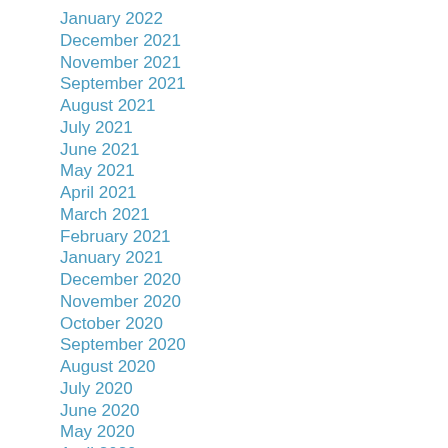January 2022
December 2021
November 2021
September 2021
August 2021
July 2021
June 2021
May 2021
April 2021
March 2021
February 2021
January 2021
December 2020
November 2020
October 2020
September 2020
August 2020
July 2020
June 2020
May 2020
April 2020
March 2020